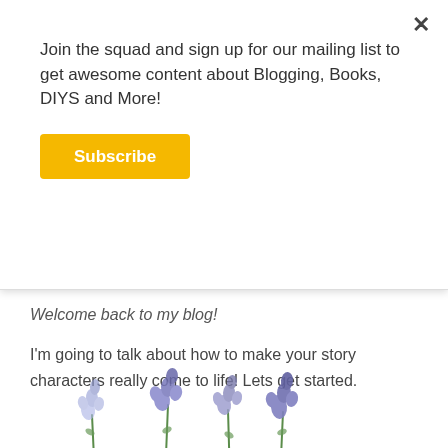Join the squad and sign up for our mailing list to get awesome content about Blogging, Books, DIYS and More!
Subscribe
Welcome back to my blog!
I'm going to talk about how to make your story characters really come to life! Lets get started.
[Figure (illustration): Watercolor-style illustration of purple lavender flower sprigs]